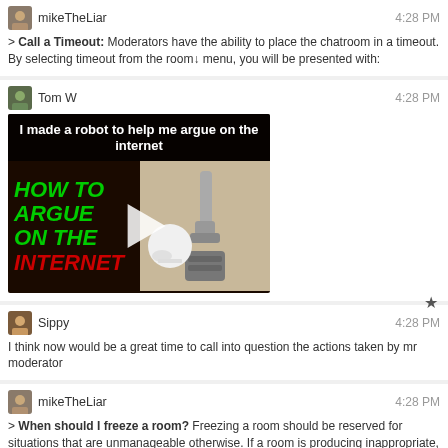mikeTheLiar — 4:28 PM
> Call a Timeout: Moderators have the ability to place the chatroom in a timeout. By selecting timeout from the room↓ menu, you will be presented with:
Tom W — 4:28 PM
[Figure (screenshot): Video thumbnail: 'I made a robot to help me argue on the internet' — HOW TO ARGUE ON THE INTERNET text with green and red styled lettering, robot arm image, play button overlay]
Sippy — 4:28 PM
I think now would be a great time to call into question the actions taken by mr moderator
mikeTheLiar — 4:28 PM
> When should I freeze a room? Freezing a room should be reserved for situations that are unmanageable otherwise. If a room is producing inappropriate, offensive content and a timeout didn't reign in the behavior, then it should be frozen until the situation can be resolved.
LITERALLY NONE OF THE THINGS THAT ARE IN THE GUIDE TO MODERATING CHAT WERE DONE